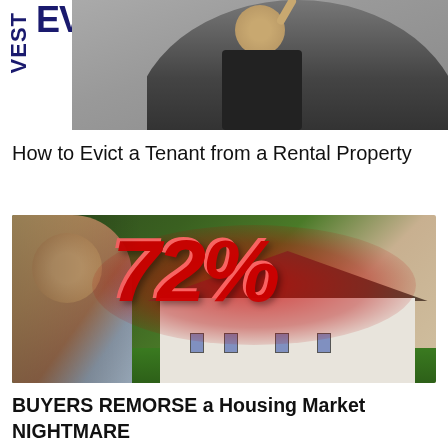[Figure (photo): Top thumbnail image showing partial text 'EVEST' vertically on left side in dark blue, large 'EV' letters, and a person in dark clothing pointing upward against gray background]
How to Evict a Tenant from a Rental Property
[Figure (photo): Thumbnail image showing a woman smiling on left, a suburban house in center-right, large bold red '72%' text overlaid, red glow background, green lawn in foreground]
BUYERS REMORSE a Housing Market NIGHTMARE